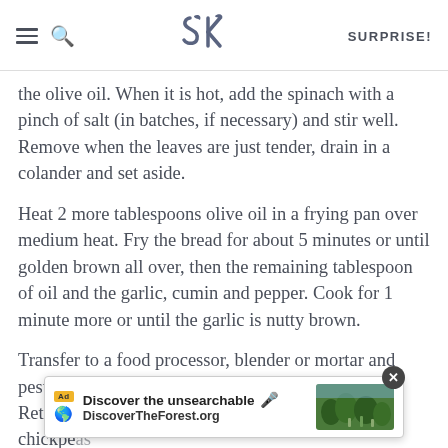SK logo | SURPRISE!
the olive oil. When it is hot, add the spinach with a pinch of salt (in batches, if necessary) and stir well. Remove when the leaves are just tender, drain in a colander and set aside.
Heat 2 more tablespoons olive oil in a frying pan over medium heat. Fry the bread for about 5 minutes or until golden brown all over, then the remaining tablespoon of oil and the garlic, cumin and pepper. Cook for 1 minute more or until the garlic is nutty brown.
Transfer to a food processor, blender or mortar and pestle along with the vinegar, and mash to a paste. Return the mixture to the pan and add the drained chickpe[as] … [eas] have al[ready been… ] ith salt
[Figure (screenshot): Ad overlay bar: 'Discover the unsearchable' / DiscoverTheForest.org with forest photo and close button]